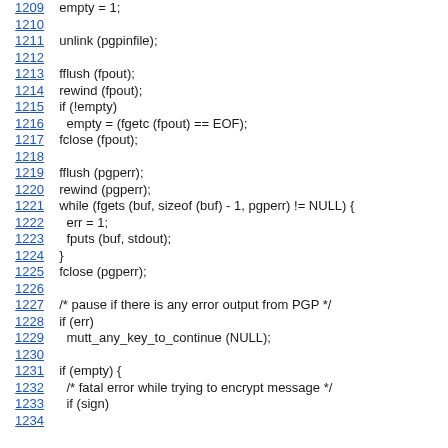1209   empty = 1;
1210
1211   unlink (pgpinfile);
1212
1213   fflush (fpout);
1214   rewind (fpout);
1215   if (!empty)
1216     empty = (fgetc (fpout) == EOF);
1217   fclose (fpout);
1218
1219   fflush (pgperr);
1220   rewind (pgperr);
1221   while (fgets (buf, sizeof (buf) - 1, pgperr) != NULL) {
1222     err = 1;
1223     fputs (buf, stdout);
1224   }
1225   fclose (pgperr);
1226
1227   /* pause if there is any error output from PGP */
1228   if (err)
1229     mutt_any_key_to_continue (NULL);
1230
1231   if (empty) {
1232     /* fatal error while trying to encrypt message */
1233     if (sign)
1234     ...